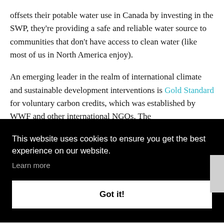offsets their potable water use in Canada by investing in the SWP, they're providing a safe and reliable water source to communities that don't have access to clean water (like most of us in North America enjoy).
An emerging leader in the realm of international climate and sustainable development interventions is Gold Standard for voluntary carbon credits, which was established by WWF and other international NGOs. The
This website uses cookies to ensure you get the best experience on our website.
Learn more
Got it!
r the
nt